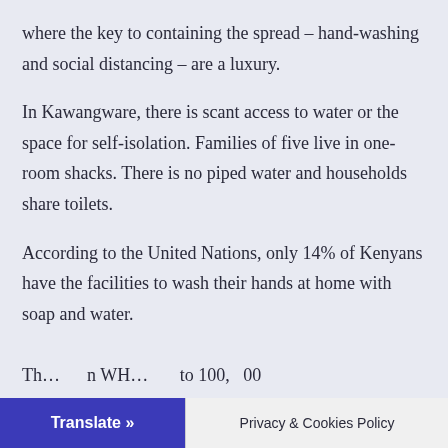where the key to containing the spread – hand-washing and social distancing – are a luxury.
In Kawangware, there is scant access to water or the space for self-isolation. Families of five live in one-room shacks. There is no piped water and households share toilets.
According to the United Nations, only 14% of Kenyans have the facilities to wash their hands at home with soap and water.
The... from WH... to 100,000
Translate » | Privacy & Cookies Policy